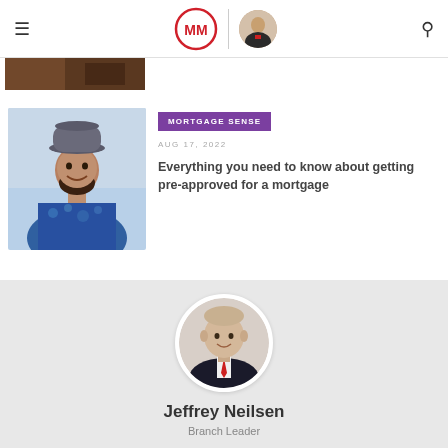MM logo header with navigation, agent photo, and search icon
[Figure (photo): Partially visible image at top of page, dark toned photo]
[Figure (photo): Man wearing a fedora hat and patterned blue shirt, smiling]
MORTGAGE SENSE
AUG 17, 2022
Everything you need to know about getting pre-approved for a mortgage
[Figure (photo): Circular headshot of Jeffrey Neilsen in suit with red tie]
Jeffrey Neilsen
Branch Leader